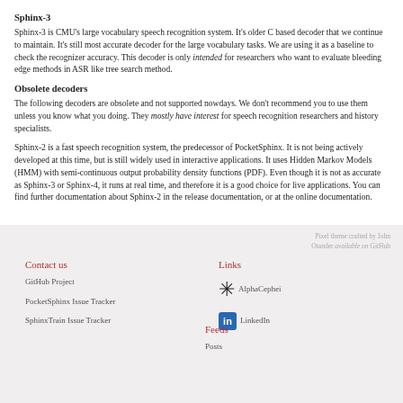Sphinx-3
Sphinx-3 is CMU's large vocabulary speech recognition system. It's older C based decoder that we continue to maintain. It's still most accurate decoder for the large vocabulary tasks. We are using it as a baseline to check the recognizer accuracy. This decoder is only intended for researchers who want to evaluate bleeding edge methods in ASR like tree search method.
Obsolete decoders
The following decoders are obsolete and not supported nowdays. We don't recommend you to use them unless you know what you doing. They mostly have interest for speech recognition researchers and history specialists.
Sphinx-2 is a fast speech recognition system, the predecessor of PocketSphinx. It is not being actively developed at this time, but is still widely used in interactive applications. It uses Hidden Markov Models (HMM) with semi-continuous output probability density functions (PDF). Even though it is not as accurate as Sphinx-3 or Sphinx-4, it runs at real time, and therefore it is a good choice for live applications. You can find further documentation about Sphinx-2 in the release documentation, or at the online documentation.
Pixel theme crafted by John Otander available on GitHub
Contact us
GitHub Project
PocketSphinx Issue Tracker
SphinxTrain Issue Tracker
Links
AlphaCephei
LinkedIn
Feeds
Posts